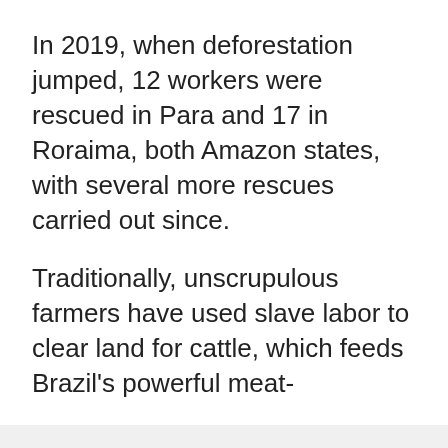In 2019, when deforestation jumped, 12 workers were rescued in Para and 17 in Roraima, both Amazon states, with several more rescues carried out since.
Traditionally, unscrupulous farmers have used slave labor to clear land for cattle, which feeds Brazil's powerful meat-
We use cookies
We use cookies and other tracking technologies to improve your browsing experience on our website, to show you personalized content and targeted ads, to analyze our website traffic, and to understand where our visitors are coming from.